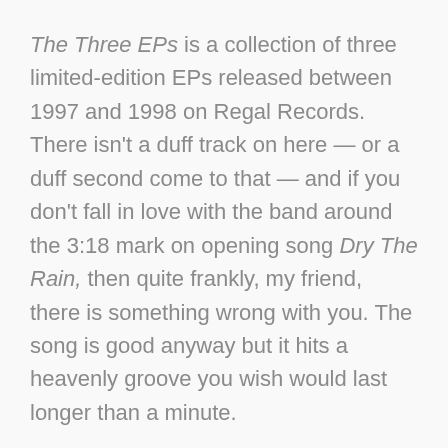The Three EPs is a collection of three limited-edition EPs released between 1997 and 1998 on Regal Records. There isn't a duff track on here — or a duff second come to that — and if you don't fall in love with the band around the 3:18 mark on opening song Dry The Rain, then quite frankly, my friend, there is something wrong with you. The song is good anyway but it hits a heavenly groove you wish would last longer than a minute.
The band doesn't seem to be big into verses followed by choruses, but instead relies on hypnotic bass lines and Mason's equally hypnotic voice, which sounds more like a man leading a karmic relaxation session than a lead singer.